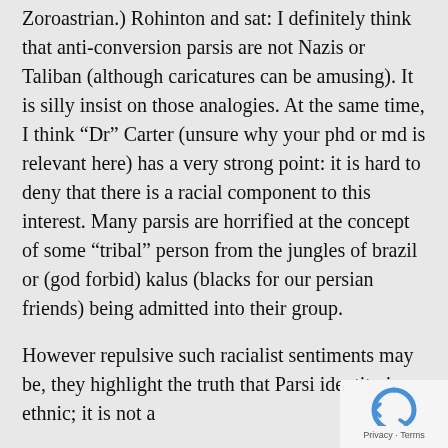Zoroastrian.) Rohinton and sat: I definitely think that anti-conversion parsis are not Nazis or Taliban (although caricatures can be amusing). It is silly insist on those analogies. At the same time, I think “Dr” Carter (unsure why your phd or md is relevant here) has a very strong point: it is hard to deny that there is a racial component to this interest. Many parsis are horrified at the concept of some “tribal” person from the jungles of brazil or (god forbid) kalus (blacks for our persian friends) being admitted into their group.
However repulsive such racialist sentiments may be, they highlight the truth that Parsi identity is ethnic; it is not a